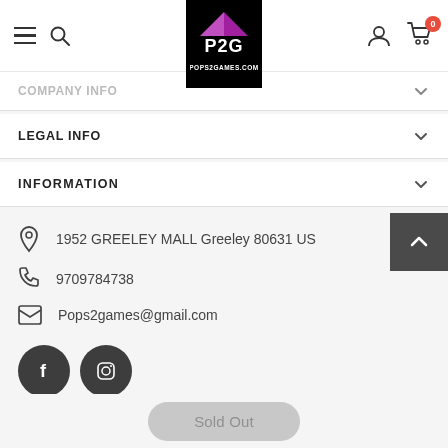[Figure (logo): P2G POPS2GAMES.COM logo on black background]
COMPANY INFO
LEGAL INFO
INFORMATION
1952 GREELEY MALL Greeley 80631 US
9709784738
Pops2games@gmail.com
[Figure (logo): Facebook and Instagram social media circle icons]
Sold Out